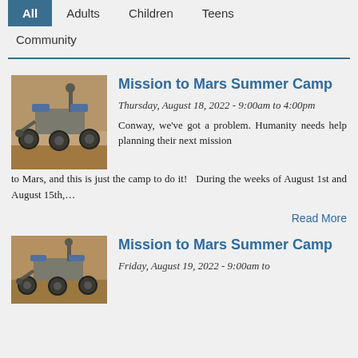All   Adults   Children   Teens   Community
Mission to Mars Summer Camp
Thursday, August 18, 2022 - 9:00am to 4:00pm
Conway, we've got a problem. Humanity needs help planning their next mission to Mars, and this is just the camp to do it!   During the weeks of August 1st and August 15th,...
Read More
Mission to Mars Summer Camp
Friday, August 19, 2022 - 9:00am to